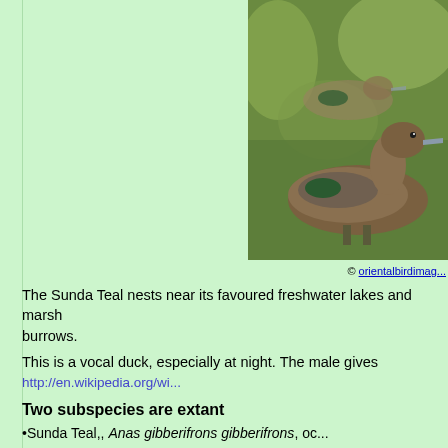[Figure (photo): Photo of a Sunda Teal duck, showing brown plumage with green speculum, against a grassy background. Partially cropped on right side.]
© orientalbirdimag...
The Sunda Teal nests near its favoured freshwater lakes and marsh... burrows.
This is a vocal duck, especially at night. The male gives...
http://en.wikipedia.org/wi...
Two subspecies are extant
•Sunda Teal,, Anas gibberifrons gibberifrons, oc...
•Andaman Teal, Anas gibberifrons albogulo...
•Rennell Island Teal, Anas gibberifrons remissa, forme...
The Grey Teal, Anas gracilis, was formerly c...